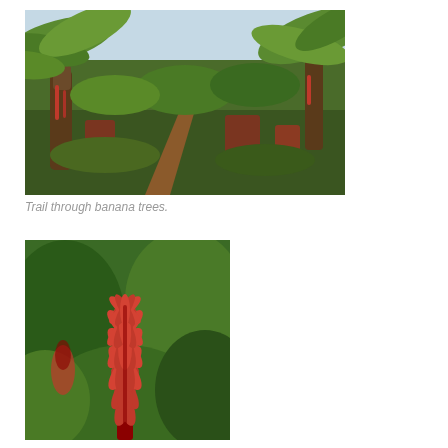[Figure (photo): A trail winding through banana trees with large green leaves, on a hillside with lush vegetation and red soil.]
Trail through banana trees.
[Figure (photo): Close-up photograph of a vibrant red tropical flower (bromeliad or ginger plant) with spiky red petals against a blurred green foliage background.]